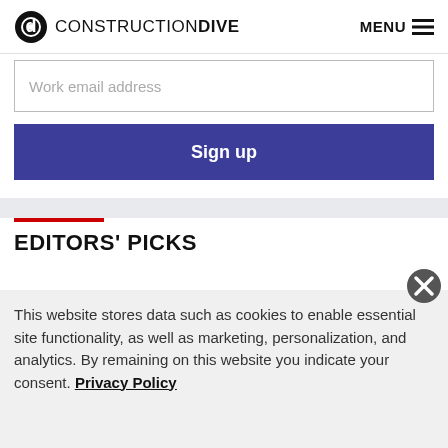CONSTRUCTION DIVE | MENU
Work email address
Sign up
EDITORS' PICKS
[Figure (photo): Partial thumbnail image with yellow-green tones, likely a construction-related photo]
This website stores data such as cookies to enable essential site functionality, as well as marketing, personalization, and analytics. By remaining on this website you indicate your consent. Privacy Policy